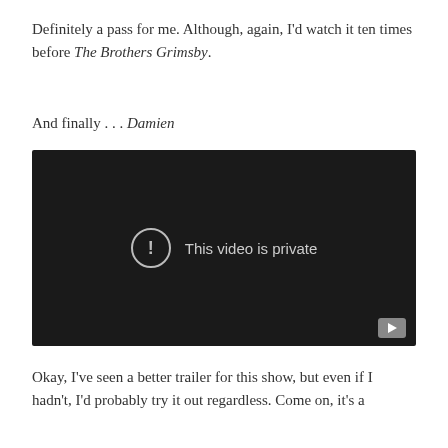Definitely a pass for me. Although, again, I'd watch it ten times before The Brothers Grimsby.
And finally . . . Damien
[Figure (screenshot): Embedded video player showing 'This video is private' message with a YouTube play button icon in the bottom right corner. The player has a dark/black background.]
Okay, I've seen a better trailer for this show, but even if I hadn't, I'd probably try it out regardless. Come on, it's a